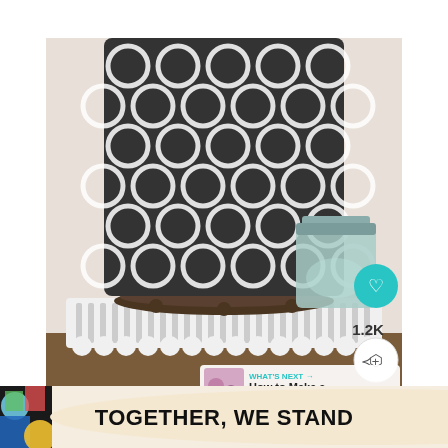[Figure (photo): A decorative lamp or canister with a black and white quatrefoil/moroccan tile pattern, sitting on a dark metal tray with small ball feet, all placed on a white scalloped/ribbed cake stand pedestal. A light blue mason jar is visible to the right. The photo appears to be a DIY crafts or home decor blog screenshot with Pinterest-style UI overlays including a teal heart button showing 1.2K saves, a share button, and a 'What's Next' panel showing 'How to Make a Paper Star...' with a thumbnail.]
[Figure (screenshot): Advertisement banner at the bottom reading 'TOGETHER, WE STAND' in bold black lettering on a cream/beige blob shape with colorful abstract shapes on the left side and a dark block on the right.]